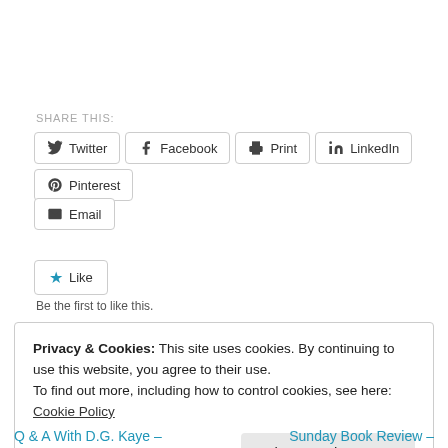SHARE THIS:
Twitter  Facebook  Print  LinkedIn  Pinterest  Email
Like  Be the first to like this.
Privacy & Cookies: This site uses cookies. By continuing to use this website, you agree to their use.
To find out more, including how to control cookies, see here: Cookie Policy
Close and accept
Q & A With D.G. Kaye –    Sunday Book Review –